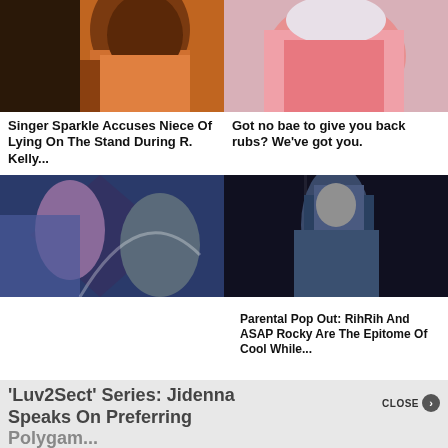[Figure (photo): Man in orange shirt, close-up side profile]
Singer Sparkle Accuses Niece Of Lying On The Stand During R. Kelly...
[Figure (photo): Woman in pink top near gym equipment]
Got no bae to give you back rubs? We've got you.
[Figure (photo): Two people sitting with artistic mural background]
[Figure (photo): Woman in blue jersey with sunglasses]
Parental Pop Out: RihRih And ASAP Rocky Are The Epitome Of Cool While...
CLOSE
'Luv2Sect' Series: Jidenna Speaks On Preferring Polygam...